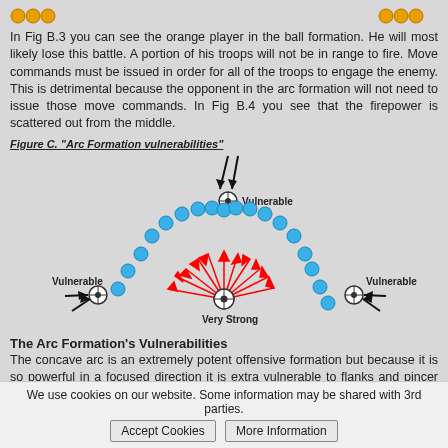[Figure (illustration): Orange dot icons at top left and top right of the page, representing player units in ball formation.]
In Fig B.3 you can see the orange player in the ball formation. He will most likely lose this battle. A portion of his troops will not be in range to fire. Move commands must be issued in order for all of the troops to engage the enemy. This is detrimental because the opponent in the arc formation will not need to issue those move commands. In Fig B.4 you see that the firepower is scattered out from the middle.
Figure C. "Arc Formation vulnerabilities"
[Figure (illustration): Diagram showing arc formation vulnerabilities. Blue dots arranged in a concave arc. Center marked 'Very Strong' with red arrows radiating outward. Left, right, and top endpoints marked 'Vulnerable' with black arrows pointing inward at the endpoints. Black arrows from above pointing down at the top center of the arc.]
The Arc Formation's Vulnerabilities
The concave arc is an extremely potent offensive formation but because it is so powerful in a focused direction it is extra vulnerable to flanks and pincer attacks (discussed more below).
Formations: The Spread vs. The Ball in regard to Melee Units
We use cookies on our website. Some information may be shared with 3rd parties.